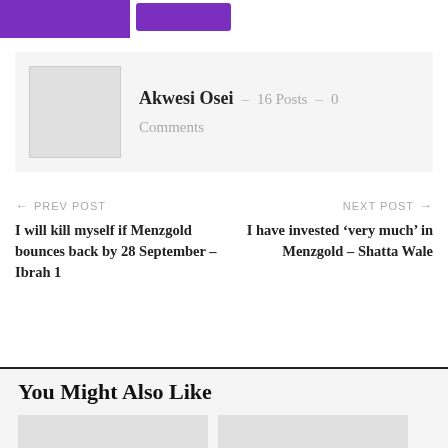[Figure (screenshot): Top banner with purple blocks: a large purple rectangle on the left and a purple button on the right]
Akwesi Osei – 16 Posts – 0 Comments
← PREV POST
I will kill myself if Menzgold bounces back by 28 September – Ibrah 1
NEXT POST →
I have invested 'very much' in Menzgold – Shatta Wale
You Might Also Like